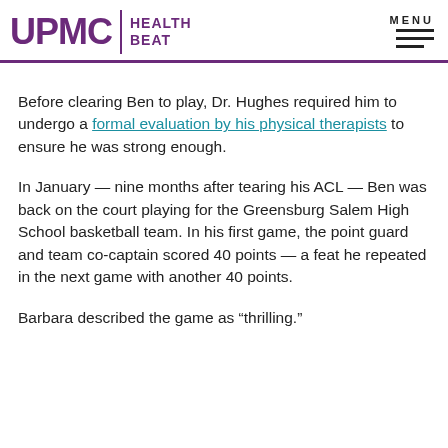UPMC HEALTH BEAT
Before clearing Ben to play, Dr. Hughes required him to undergo a formal evaluation by his physical therapists to ensure he was strong enough.
In January — nine months after tearing his ACL — Ben was back on the court playing for the Greensburg Salem High School basketball team. In his first game, the point guard and team co-captain scored 40 points — a feat he repeated in the next game with another 40 points.
Barbara described the game as “thrilling.”